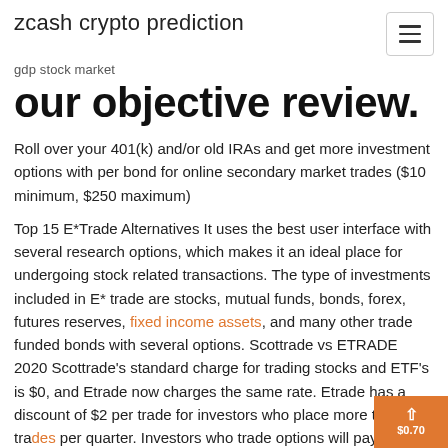zcash crypto prediction
gdp stock market
our objective review.
Roll over your 401(k) and/or old IRAs and get more investment options with per bond for online secondary market trades ($10 minimum, $250 maximum)
Top 15 E*Trade Alternatives It uses the best user interface with several research options, which makes it an ideal place for undergoing stock related transactions. The type of investments included in E* trade are stocks, mutual funds, bonds, forex, futures reserves, fixed income assets, and many other trade funded bonds with several options. Scottrade vs ETRADE 2020 Scottrade’s standard charge for trading stocks and ETF’s is $0, and Etrade now charges the same rate. Etrade has a discount of $2 per trade for investors who place more than 150 trades per quarter. Investors who trade options will pay an extra $0.70 per contract at Scottrade, and $0.65 at Etrade. Options investing